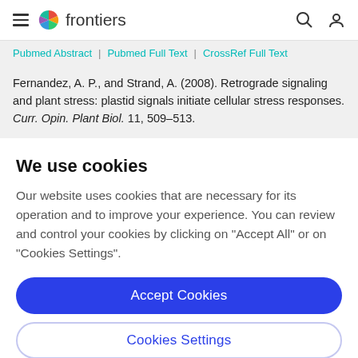frontiers
Pubmed Abstract | Pubmed Full Text | CrossRef Full Text
Fernandez, A. P., and Strand, A. (2008). Retrograde signaling and plant stress: plastid signals initiate cellular stress responses. Curr. Opin. Plant Biol. 11, 509–513.
We use cookies
Our website uses cookies that are necessary for its operation and to improve your experience. You can review and control your cookies by clicking on "Accept All" or on "Cookies Settings".
Accept Cookies
Cookies Settings